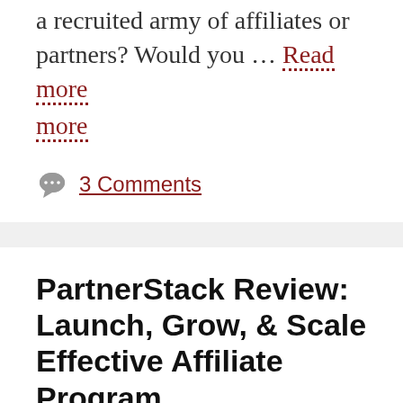a recruited army of affiliates or partners? Would you … Read more
3 Comments
PartnerStack Review: Launch, Grow, & Scale Effective Affiliate Program
February 8, 2019 by Ashwin